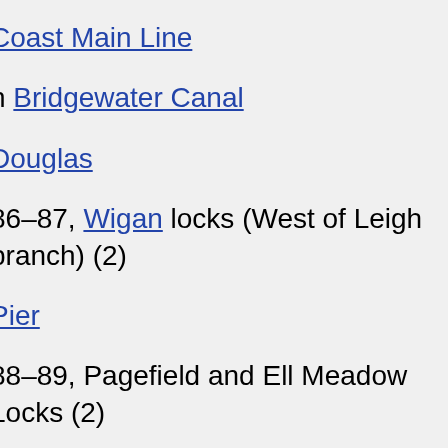Coast Main Line
n Bridgewater Canal
Douglas
86–87, Wigan locks (West of Leigh branch) (2)
Pier
88–89, Pagefield and Ell Meadow Locks (2)
e Village Marina
90–94, Dean Locks and Appley Locks (4)
er Ribble